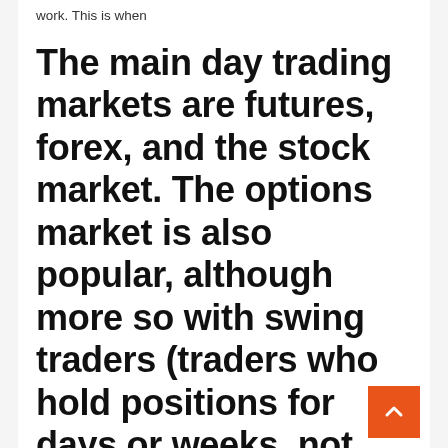work. This is when
The main day trading markets are futures, forex, and the stock market. The options market is also popular, although more so with swing traders (traders who hold positions for days or weeks, not minutes like a day trader). Most people are aware of the stock market; future